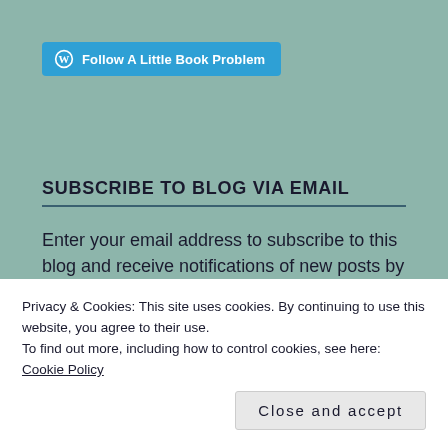[Figure (logo): WordPress follow button: 'Follow A Little Book Problem' in blue rounded rectangle with WordPress logo]
SUBSCRIBE TO BLOG VIA EMAIL
Enter your email address to subscribe to this blog and receive notifications of new posts by email.
Privacy & Cookies: This site uses cookies. By continuing to use this website, you agree to their use.
To find out more, including how to control cookies, see here: Cookie Policy
Close and accept
Join 8,117 other followers